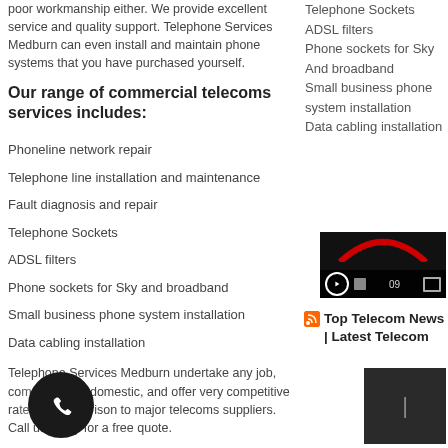poor workmanship either. We provide excellent service and quality support. Telephone Services Medburn can even install and maintain phone systems that you have purchased yourself.
Our range of commercial telecoms services includes:
Phoneline network repair
Telephone line installation and maintenance
Fault diagnosis and repair
Telephone Sockets
ADSL filters
Phone sockets for Sky and broadband
Small business phone system installation
Data cabling installation
Telephone Services Medburn undertake any job, commercial or domestic, and offer very competitive rates in comparison to major telecoms suppliers. Call us today for a free quote.
Telephone Sockets
ADSL filters
Phone sockets for Sky
And broadband
Small business phone system installation
Data cabling installation
[Figure (screenshot): Video player thumbnail with dark background, red arc/logo, play button, stop button, timer showing 09, and fullscreen icon]
Top Telecom News | Latest Telecom